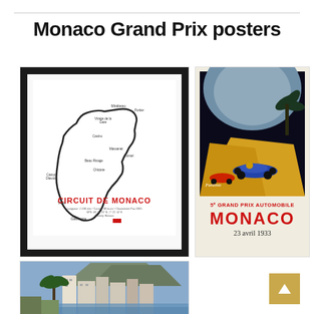Monaco Grand Prix posters
[Figure (photo): Framed Circuit de Monaco track map poster with red title text 'CIRCUIT DE MONACO' on white background, black frame]
[Figure (illustration): Vintage 5e Grand Prix Automobile Monaco 23 avril 1933 poster showing blue racing car on track with palm trees, dark background]
[Figure (photo): Photo of Monaco cityscape with buildings, palm trees and mountain in background]